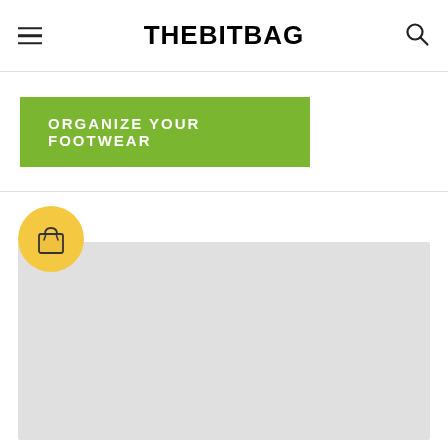THEBITBAG
ORGANIZE YOUR FOOTWEAR
[Figure (logo): Shopping bag icon in a yellow circle, logo for THEBITBAG]
[Figure (photo): Large light gray placeholder image area]